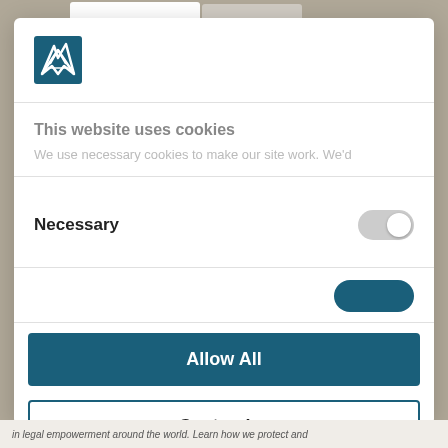[Figure (logo): Company logo with angular bird/wing mark in teal/dark teal square]
This website uses cookies
We use necessary cookies to make our site work. We'd
Necessary
Allow All
Customize
Powered by Cookiebot by Usercentrics
in legal empowerment around the world. Learn how we protect and